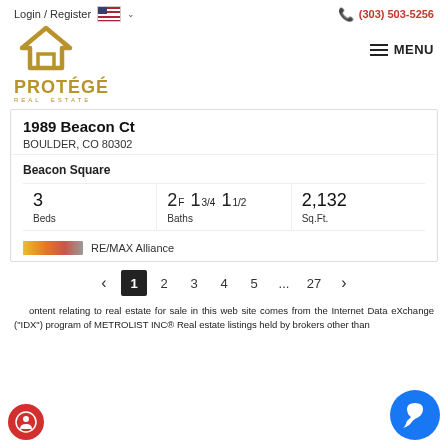Login / Register | (303) 503-5256
[Figure (logo): Protégé Real Estate logo with gold chevron/house icon and brand name]
1989 Beacon Ct
BOULDER, CO 80302
Beacon Square
| Beds | Baths | Sq.Ft. |
| --- | --- | --- |
| 3 | 2F 13/4 11/2 | 2,132 |
RE/MAX Alliance
< 1 2 3 4 5 ... 27 >
Content relating to real estate for sale in this web site comes from the Internet Data eXchange ("IDX") program of METROLIST INC® Real estate listings held by brokers other than